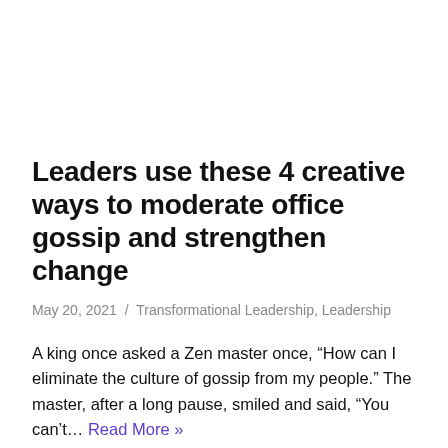Leaders use these 4 creative ways to moderate office gossip and strengthen change
May 20, 2021 / Transformational Leadership, Leadership
A king once asked a Zen master once, “How can I eliminate the culture of gossip from my people.” The master, after a long pause, smiled and said, “You can’t… Read More »